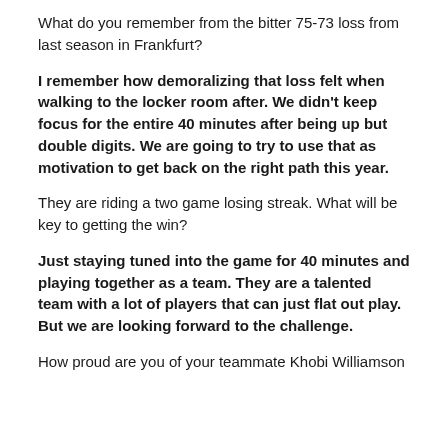What do you remember from the bitter 75-73 loss from last season in Frankfurt?
I remember how demoralizing that loss felt when walking to the locker room after. We didn't keep focus for the entire 40 minutes after being up but double digits. We are going to try to use that as motivation to get back on the right path this year.
They are riding a two game losing streak. What will be key to getting the win?
Just staying tuned into the game for 40 minutes and playing together as a team. They are a talented team with a lot of players that can just flat out play. But we are looking forward to the challenge.
How proud are you of your teammate Khobi Williamson